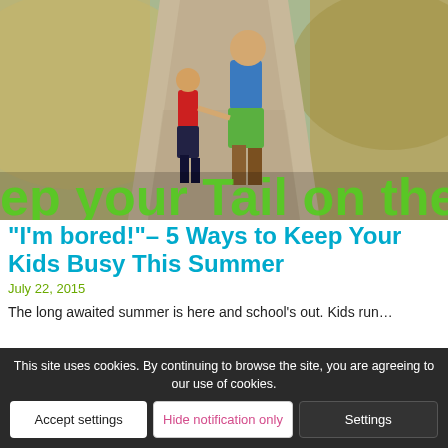[Figure (photo): Two people walking on a dusty trail — a child in a red top and dark pants holding hands with an adult in a blue top and green shorts. Text overlay reads 'ep your Tail on the T' in green letters at the bottom of the image.]
"I'm bored!"– 5 Ways to Keep Your Kids Busy This Summer
July 22, 2015
The long awaited summer is here and school's out. Kids run…
This site uses cookies. By continuing to browse the site, you are agreeing to our use of cookies.